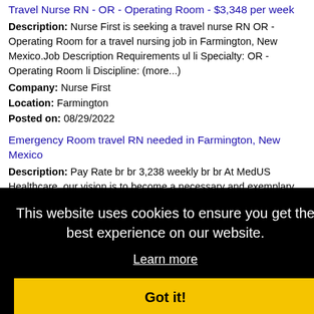Travel Nurse RN - OR - Operating Room - $3,348 per week
Description: Nurse First is seeking a travel nurse RN OR - Operating Room for a travel nursing job in Farmington, New Mexico.Job Description Requirements ul li Specialty: OR - Operating Room li Discipline: (more...)
Company: Nurse First
Location: Farmington
Posted on: 08/29/2022
Emergency Room travel RN needed in Farmington, New Mexico
Description: Pay Rate br br 3,238 weekly br br At MedUS Healthcare, our vision is to become a necessary and exemplary
This website uses cookies to ensure you get the best experience on our website.
Learn more
Got it!
week
ravel
Company: Accountable Healthcare Staffing